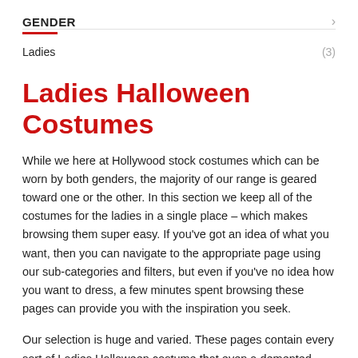GENDER
Ladies (3)
Ladies Halloween Costumes
While we here at Hollywood stock costumes which can be worn by both genders, the majority of our range is geared toward one or the other. In this section we keep all of the costumes for the ladies in a single place – which makes browsing them super easy. If you've got an idea of what you want, then you can navigate to the appropriate page using our sub-categories and filters, but even if you've no idea how you want to dress, a few minutes spent browsing these pages can provide you with the inspiration you seek.
Our selection is huge and varied. These pages contain every sort of Ladies Halloween costume that even a demented genius like